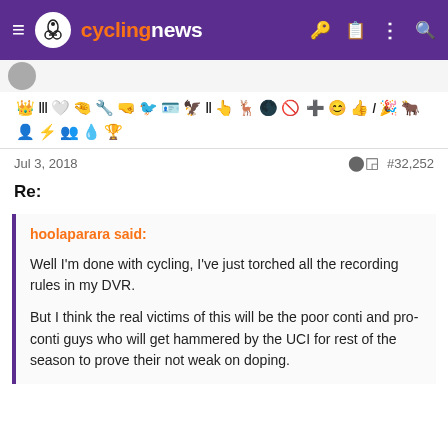cyclingnews
[Figure (other): User badges/achievement icons row]
Jul 3, 2018    #32,252
Re:
hoolaparara said:

Well I'm done with cycling, I've just torched all the recording rules in my DVR.

But I think the real victims of this will be the poor conti and pro-conti guys who will get hammered by the UCI for rest of the season to prove their not weak on doping.